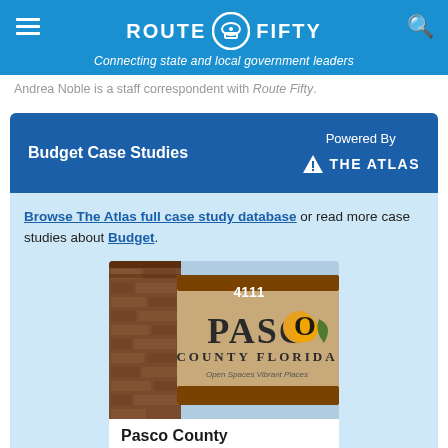ROUTE FIFTY — Connecting state and local government leaders
Andrea Noble is a staff correspondent with Route Fifty.
Budget Case Studies   Powered By   THE ATLAS
Browse The Atlas full case study database or read more case studies about Budget.
[Figure (photo): Photo of Pasco County Florida sign at address 4111, with brick column and orange sunflower logo, reading 'Open Spaces Vibrant Places']
Pasco County